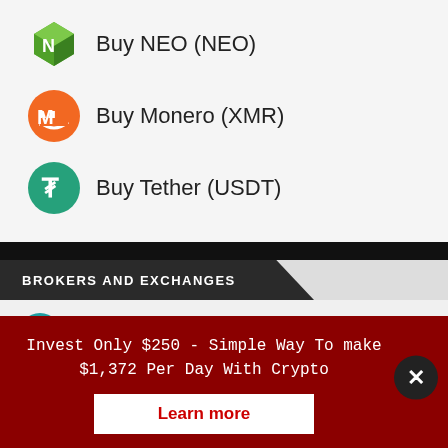Buy NEO (NEO)
Buy Monero (XMR)
Buy Tether (USDT)
BROKERS AND EXCHANGES
Poloniex
AvaTrade
Coinbase
Invest Only $250 - Simple Way To make $1,372 Per Day With Crypto
Learn more